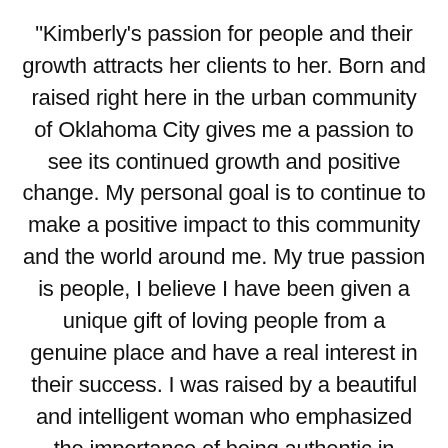"Kimberly's passion for people and their growth attracts her clients to her. Born and raised right here in the urban community of Oklahoma City gives me a passion to see its continued growth and positive change. My personal goal is to continue to make a positive impact to this community and the world around me. My true passion is people, I believe I have been given a unique gift of loving people from a genuine place and have a real interest in their success. I was raised by a beautiful and intelligent woman who emphasized the importance of being authentic in everything I do. I am blessed with the most amazing husband, children and grandchild who give me just enough support to help me pursue my